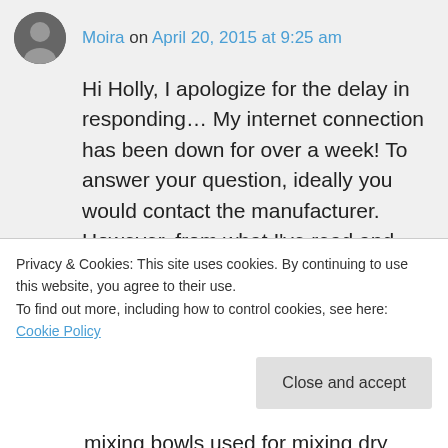Moira on April 20, 2015 at 9:25 am
Hi Holly, I apologize for the delay in responding… My internet connection has been down for over a week! To answer your question, ideally you would contact the manufacturer. However, from what I've read and experienced in the past, you should use the upper rack only or hand wash your melamine dinnerware. The decision also hinges on how hot your dishwasher gets
Privacy & Cookies: This site uses cookies. By continuing to use this website, you agree to their use.
To find out more, including how to control cookies, see here: Cookie Policy
Close and accept
mixing bowls used for mixing dry